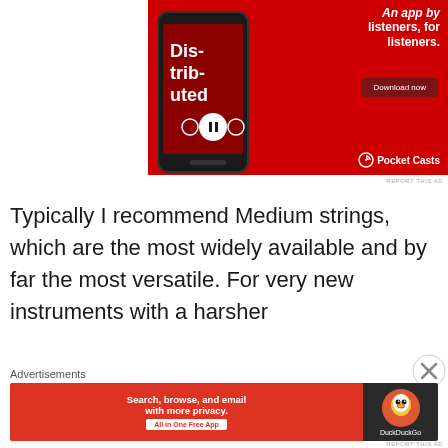[Figure (illustration): Pocket Casts podcast app advertisement on red background. Shows a smartphone with 'Dis-trib-uted' podcast playing. Text reads 'An app by listeners, for listeners.' with a 'Download now' button and Pocket Casts logo.]
REPORT THIS AD
Typically I recommend Medium strings, which are the most widely available and by far the most versatile. For very new instruments with a harsher
Advertisements
[Figure (illustration): DuckDuckGo advertisement. Left side red background with text 'Search, browse, and email with more privacy. All in One Free App'. Right side dark background with DuckDuckGo duck logo.]